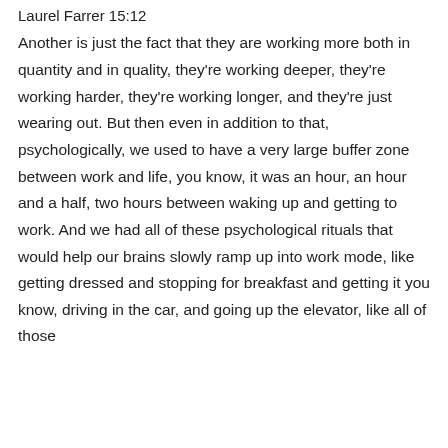Laurel Farrer 15:12
Another is just the fact that they are working more both in quantity and in quality, they're working deeper, they're working harder, they're working longer, and they're just wearing out. But then even in addition to that, psychologically, we used to have a very large buffer zone between work and life, you know, it was an hour, an hour and a half, two hours between waking up and getting to work. And we had all of these psychological rituals that would help our brains slowly ramp up into work mode, like getting dressed and stopping for breakfast and getting it you know, driving in the car, and going up the elevator, like all of those